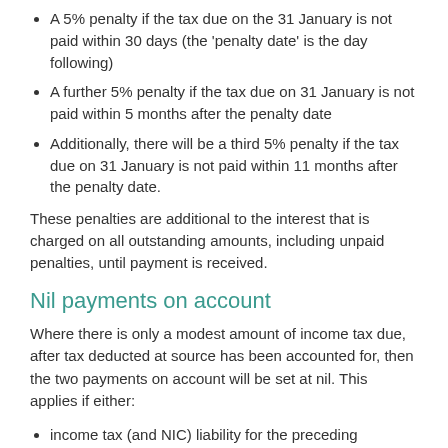A 5% penalty if the tax due on the 31 January is not paid within 30 days (the 'penalty date' is the day following)
A further 5% penalty if the tax due on 31 January is not paid within 5 months after the penalty date
Additionally, there will be a third 5% penalty if the tax due on 31 January is not paid within 11 months after the penalty date.
These penalties are additional to the interest that is charged on all outstanding amounts, including unpaid penalties, until payment is received.
Nil payments on account
Where there is only a modest amount of income tax due, after tax deducted at source has been accounted for, then the two payments on account will be set at nil. This applies if either:
income tax (and NIC) liability for the preceding